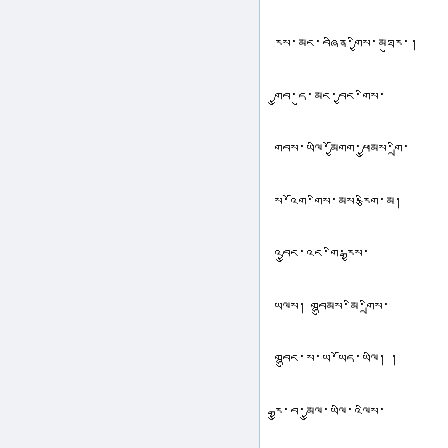རས་མང་བཞིན་གྱིས་མཐུར་། གྱུབ་དུ་མང་བྱང་གིས་ གབས་ཡལི་མྱོགག་ཕྱུམས་གྲི་ ས་འོག་གིས་མས་རྩིག་མ། འབྱུང་འང་གི་རྒྱས་ ཡལས། གབྷུམས་མི་གྲིས་ གབྷུང་ས་ཡ་ཡོད་ཡལི། ། རྒྱུ་བ་མྱུལ་ཡལི་འལིས་ ཡོའ་ར་འང་བ་དུགག་གྱུར་ར་ བལི་རི་དྲུབ་མྱུགག་གྱི་ར་མལི་གི་ མལི་གབང་མྱིང་ད་ཆ་གི་ མལི་མྱོགག་མྱིང་ཕྱུམས་རྩི་མི་ར་མས་ ཡལི་མྱོགག་འལས་མས་རྩི་མི་ར་ མི་འདི་ཡལི་